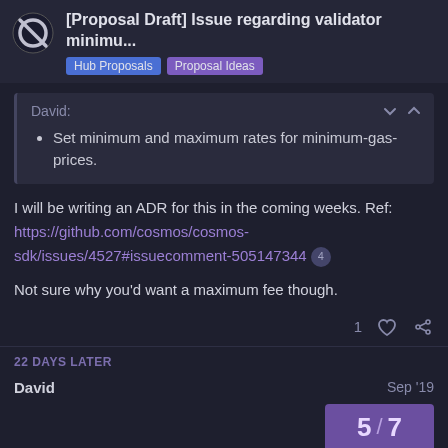[Proposal Draft] Issue regarding validator minimu... | Hub Proposals | Proposal Ideas
David: Set minimum and maximum rates for minimum-gas-prices.
I will be writing an ADR for this in the coming weeks. Ref: https://github.com/cosmos/cosmos-sdk/issues/4527#issuecomment-505147344 4
Not sure why you'd want a maximum fee though.
22 DAYS LATER
David Sep '19
5 / 7